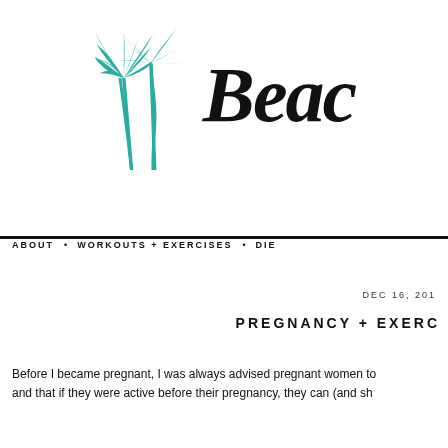[Figure (logo): Beach blog logo with two teal palm trees on the left and cursive/script text 'Beac' (partially visible) on the right in black]
ABOUT • WORKOUTS + EXERCISES • DIE
DEC 16, 201
PREGNANCY + EXERC
Before I became pregnant, I was always advised pregnant women to and that if they were active before their pregnancy, they can (and sh